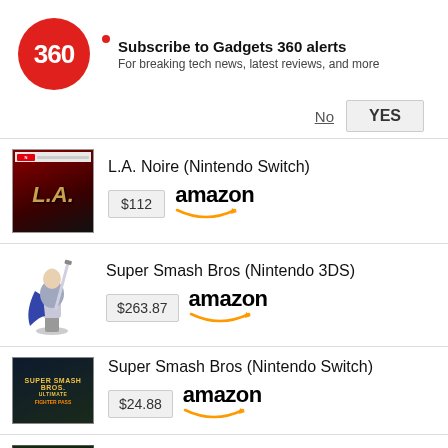[Figure (logo): Gadgets 360 red circle logo with '360' text and notification banner: 'Subscribe to Gadgets 360 alerts - For breaking tech news, latest reviews, and more' with No and YES buttons]
L.A. Noire (Nintendo Switch) - $112 - amazon
Super Smash Bros (Nintendo 3DS) - $263.87 - amazon
Super Smash Bros (Nintendo Switch) - $24.88 - amazon
Grand Theft Auto V (Xbox One)